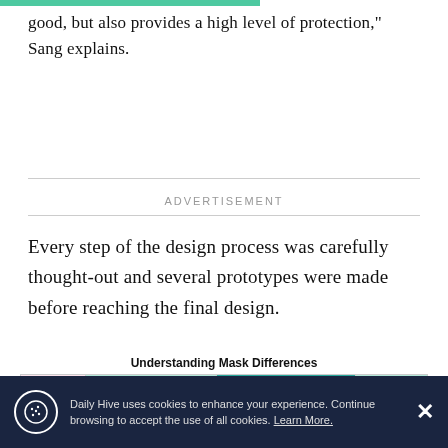good, but also provides a high level of protection," Sang explains.
ADVERTISEMENT
Every step of the design process was carefully thought-out and several prototypes were made before reaching the final design.
[Figure (table-as-image): Understanding Mask Differences infographic comparing Surgical Masks, Masked for Work, and Cotton Masks by Features and Material]
Daily Hive uses cookies to enhance your experience. Continue browsing to accept the use of all cookies. Learn More.